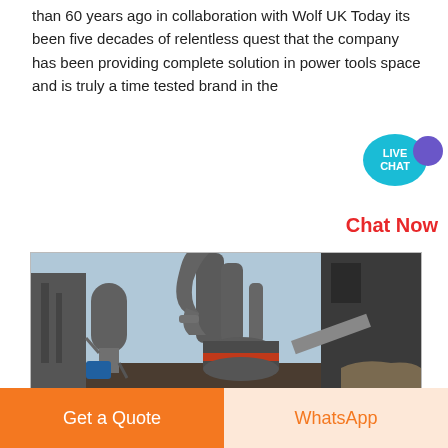than 60 years ago in collaboration with Wolf UK Today its been five decades of relentless quest that the company has been providing complete solution in power tools space and is truly a time tested brand in the
[Figure (photo): Industrial facility with large grey cylindrical grinding mill machinery, cyclone dust collectors, pipes, conveyors and industrial buildings under a blue sky.]
Chat Now
Get a Quote
WhatsApp